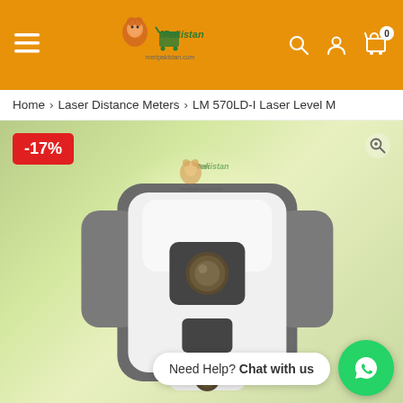Meri Pakistan e-commerce website header with hamburger menu, logo, search, account, and cart icons
Home > Laser Distance Meters > LM 570LD-I Laser Level M
[Figure (photo): Product image of LM 570LD-I Laser Level Meter shown from front, gray and white device with circular lens, on green gradient background. Has -17% discount badge in red top-left, MeriPakistan watermark in center, zoom icon top-right, and WhatsApp chat widget bottom-right reading 'Need Help? Chat with us']